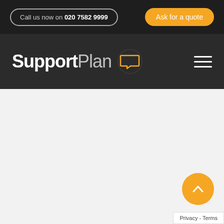Call us now on 020 7582 9999 | Ask for a quote
[Figure (logo): SupportPlan logo with orange speech bubble icon and hamburger menu]
[Figure (other): Scroll-to-top orange circular button with upward chevron arrow]
Privacy - Terms